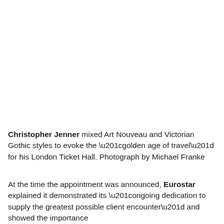Christopher Jenner mixed Art Nouveau and Victorian Gothic styles to evoke the “golden age of travel” for his London Ticket Hall. Photograph by Michael Franke
At the time the appointment was announced, Eurostar explained it demonstrated its “ongoing dedication to supply the greatest possible client encounter” and showed the importance it positioning, design…